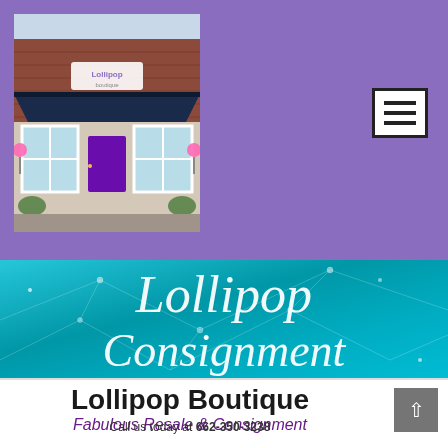[Figure (photo): Photo of Lollipop Boutique storefront with brick exterior, navy awning, white windows, and purple door]
[Figure (screenshot): Hamburger menu icon (three horizontal lines) in a white bordered box on purple background]
[Figure (photo): Teal/cyan gradient banner with geometric line network overlay and script text reading 'Lollipop Consignment' in white cursive]
Lollipop Boutique
Fabulous Resale & Consignment
Call us today at 662-350-3238